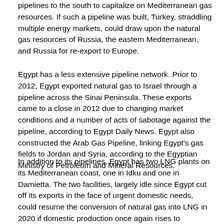pipelines to the south to capitalize on Mediterranean gas resources. If such a pipeline was built, Turkey, straddling multiple energy markets, could draw upon the natural gas resources of Russia, the eastern Mediterranean, and Russia for re-export to Europe.
Egypt has a less extensive pipeline network. Prior to 2012, Egypt exported natural gas to Israel through a pipeline across the Sinai Peninsula. These exports came to a close in 2012 due to changing market conditions and a number of acts of sabotage against the pipeline, according to Egypt Daily News. Egypt also constructed the Arab Gas Pipeline, linking Egypt's gas fields to Jordan and Syria, according to the Egyptian Ministry of Petroleum and Mineral Resources.
In addition to its pipelines, Egypt has two LNG plants on its Mediterranean coast, one in Idku and one in Damietta. The two facilities, largely idle since Egypt cut off its exports in the face of urgent domestic needs, could resume the conversion of natural gas into LNG in 2020 if domestic production once again rises to surpasses consumption, according to an article by The Economist in September 2015. The two LNG facilities, according a Reuters' article in February 2013, have